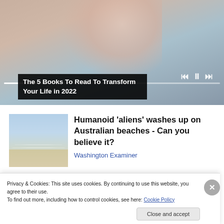[Figure (screenshot): Video player thumbnail showing a woman with braided hair, with playback controls (skip back, pause, skip forward) and a progress bar at the bottom]
The 5 Books To Read To Transform Your Life in 2022
[Figure (photo): Beach scene with waves and sandy shore under a light blue sky]
Humanoid 'aliens' washes up on Australian beaches - Can you believe it?
Washington Examiner
Privacy & Cookies: This site uses cookies. By continuing to use this website, you agree to their use.
To find out more, including how to control cookies, see here: Cookie Policy
Close and accept